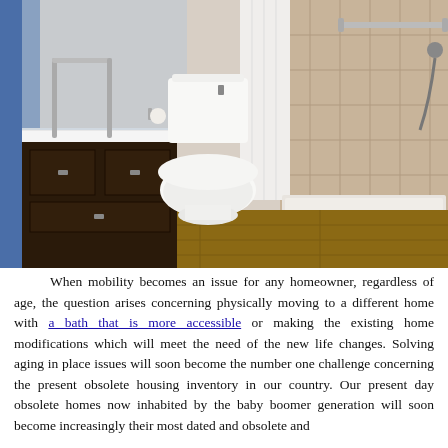[Figure (photo): Accessible bathroom with grab bars, white toilet, walk-in shower with tile walls, and dark wood vanity cabinet with white countertop. Metal grab bars are visible near the toilet and in the shower area.]
When mobility becomes an issue for any homeowner, regardless of age, the question arises concerning physically moving to a different home with a bath that is more accessible or making the existing home modifications which will meet the need of the new life changes. Solving aging in place issues will soon become the number one challenge concerning the present obsolete housing inventory in our country. Our present day obsolete homes now inhabited by the baby boomer generation will soon become increasingly their most dated and obsolete and...